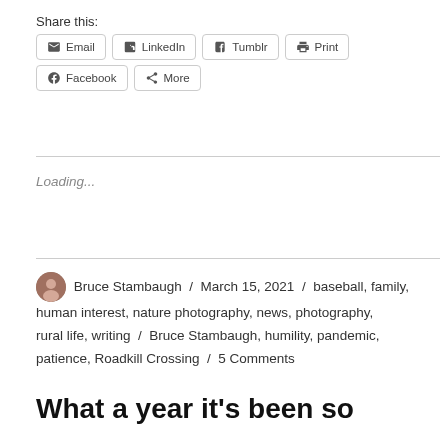Share this:
Email  LinkedIn  Tumblr  Print  Facebook  More
Loading...
Bruce Stambaugh / March 15, 2021 / baseball, family, human interest, nature photography, news, photography, rural life, writing / Bruce Stambaugh, humility, pandemic, patience, Roadkill Crossing / 5 Comments
What a year it’s been so